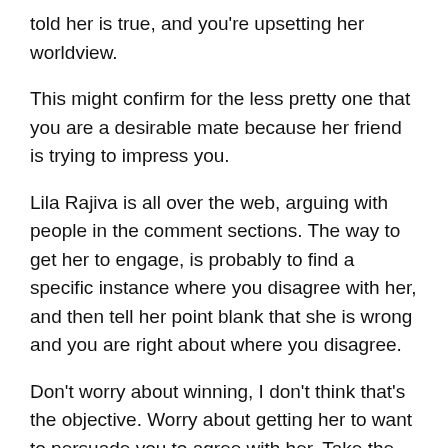told her is true, and you're upsetting her worldview.
This might confirm for the less pretty one that you are a desirable mate because her friend is trying to impress you.
Lila Rajiva is all over the web, arguing with people in the comment sections. The way to get her to engage, is probably to find a specific instance where you disagree with her, and then tell her point blank that she is wrong and you are right about where you disagree.
Don't worry about winning, I don't think that's the objective. Worry about getting her to want to persuade you to agree with her. Take the alpha male position, that it doesn't matter what she believes in, only that she is trying to influence